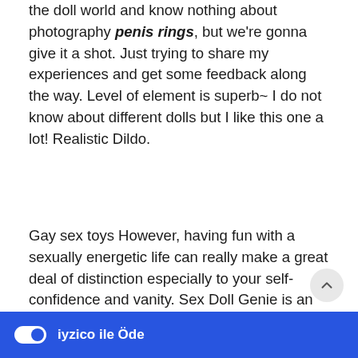the doll world and know nothing about photography penis rings, but we're gonna give it a shot. Just trying to share my experiences and get some feedback along the way. Level of element is superb~ I do not know about different dolls but I like this one a lot! Realistic Dildo.
Gay sex toys However, having fun with a sexually energetic life can really make a great deal of distinction especially to your self-confidence and vanity. Sex Doll Genie is an official distributor of all the top doll manufacturers. We have collaborated with brands like WM Dolls and many more. gay sex toys.
G spot vibrator Buy a sex doll from us and choose all of the qualities you've always wished from a woman. We present you the realistic love doll before we ship to you. We continuously go to each doll producer to study their love doll high quality, production consistency and capacity, so on... a prime quality... All licensed...
[Figure (screenshot): iyzico payment bar at the bottom of the screen with a toggle switch and 'iyzico ile Öde' text in white on blue background]